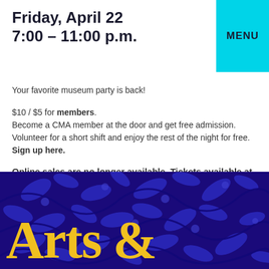Friday, April 22
7:00 – 11:00 p.m.
MENU
Your favorite museum party is back!
$10 / $5 for members.
Become a CMA member at the door and get free admission.
Volunteer for a short shift and enjoy the rest of the night for free.
Sign up here.
Online sales are no longer available. Tickets available at the door.
[Figure (illustration): Decorative blue floral pattern background with stylized leaves and swirls in dark blue and medium blue tones. Yellow 'Arts &' text visible in the lower left.]